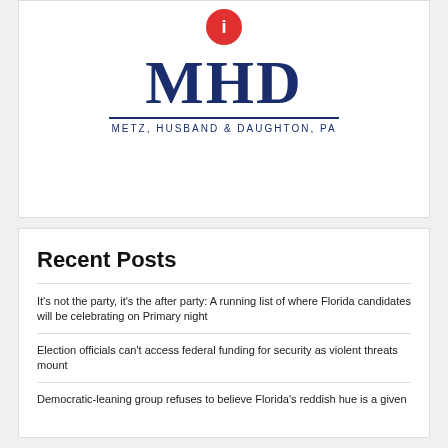[Figure (logo): MHD - Metz, Husband & Daughton, PA law firm logo with red icon at top, large dark blue MHD lettering, and subtitle text]
Recent Posts
It's not the party, it's the after party: A running list of where Florida candidates will be celebrating on Primary night
Election officials can't access federal funding for security as violent threats mount
Democratic-leaning group refuses to believe Florida's reddish hue is a given